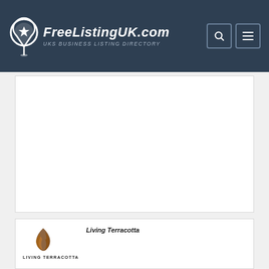FreeListingUK.com — UKs BUSINESS LISTING DIRECTORY
[Figure (other): Advertisement/empty white box placeholder]
[Figure (logo): Living Terracotta business logo — flame/leaf icon in brown with text LIVING TERRACOTTA below]
Living Terracotta